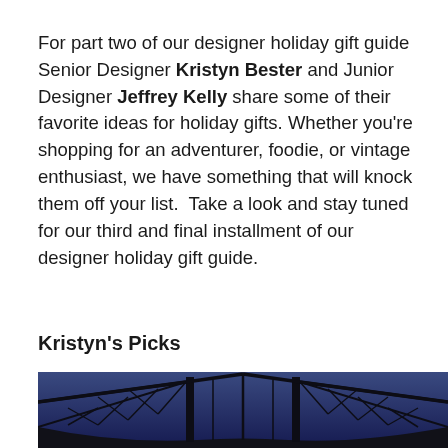For part two of our designer holiday gift guide Senior Designer Kristyn Bester and Junior Designer Jeffrey Kelly share some of their favorite ideas for holiday gifts. Whether you're shopping for an adventurer, foodie, or vintage enthusiast, we have something that will knock them off your list.  Take a look and stay tuned for our third and final installment of our designer holiday gift guide.
Kristyn's Picks
[Figure (photo): A steel truss bridge photographed from below at dusk or night, silhouetted against a dark blue sky. The bridge's diagonal steel framework and curved lower chord are visible.]